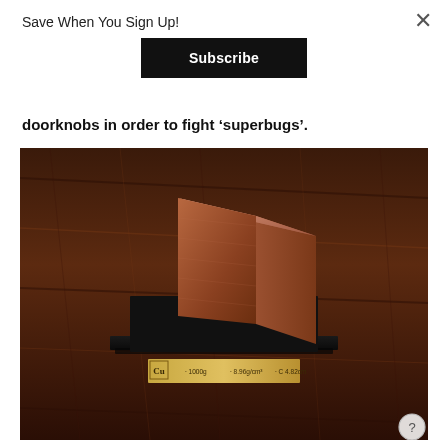Save When You Sign Up!
Subscribe
doorknobs in order to fight 'superbugs'.
[Figure (photo): A copper cube sitting on a black display stand on a dark wood surface. The stand has a gold label plate reading: Cu · 1000g · 8.96g/cm³ · C 4.82cm]